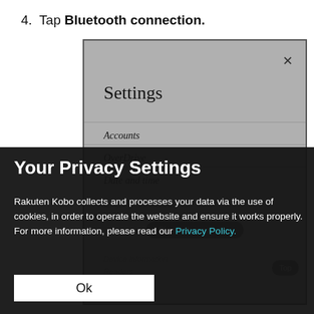4. Tap Bluetooth connection.
[Figure (screenshot): Settings menu screenshot showing Settings title with menu items: Accounts, OverDrive, Date and time, Language and dictionaries (faded), Bluetooth connection (highlighted), and a Top button. Dark overlay covers lower portion.]
Your Privacy Settings
Rakuten Kobo collects and processes your data via the use of cookies, in order to operate the website and ensure it works properly. For more information, please read our Privacy Policy.
Ok